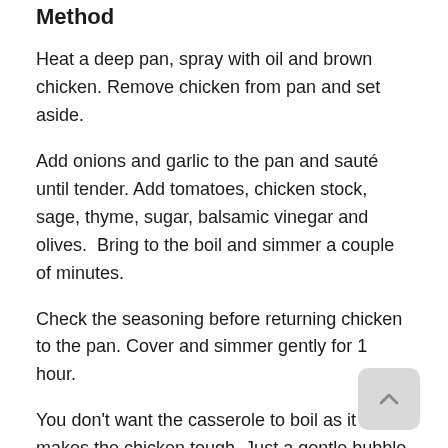Method
Heat a deep pan, spray with oil and brown chicken. Remove chicken from pan and set aside.
Add onions and garlic to the pan and sauté until tender. Add tomatoes, chicken stock, sage, thyme, sugar, balsamic vinegar and olives.  Bring to the boil and simmer a couple of minutes.
Check the seasoning before returning chicken to the pan. Cover and simmer gently for 1 hour.
You don't want the casserole to boil as it makes the chicken tough. Just a gentle bubble will give you lovely tender chicken.
Notes: